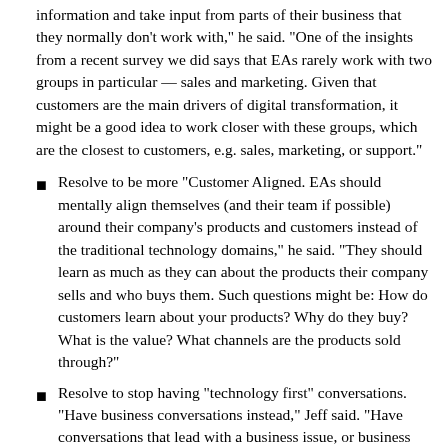information and take input from parts of their business that they normally don’t work with,” he said. “One of the insights from a recent survey we did says that EAs rarely work with two groups in particular — sales and marketing. Given that customers are the main drivers of digital transformation, it might be a good idea to work closer with these groups, which are the closest to customers, e.g. sales, marketing, or support.”
Resolve to be more “Customer Aligned. EAs should mentally align themselves (and their team if possible) around their company’s products and customers instead of the traditional technology domains,” he said. “They should learn as much as they can about the products their company sells and who buys them. Such questions might be: How do customers learn about your products? Why do they buy? What is the value? What channels are the products sold through?”
Resolve to stop having “technology first” conversations. “Have business conversations instead,” Jeff said. “Have conversations that lead with a business issue, or business